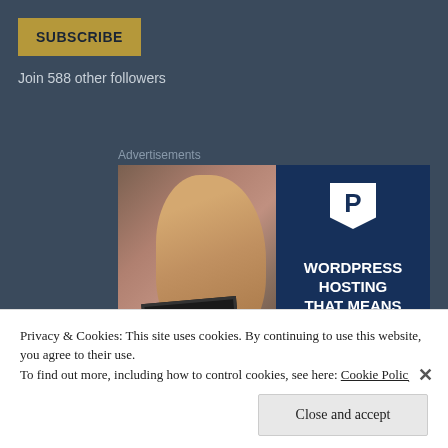SUBSCRIBE
Join 588 other followers
Advertisements
[Figure (photo): Advertisement banner showing a woman holding an OPEN sign on the left, and WordPress hosting text 'WORDPRESS HOSTING THAT MEANS BUSINESS.' on a dark blue background on the right with a P logo.]
Privacy & Cookies: This site uses cookies. By continuing to use this website, you agree to their use.
To find out more, including how to control cookies, see here: Cookie Policy
Close and accept